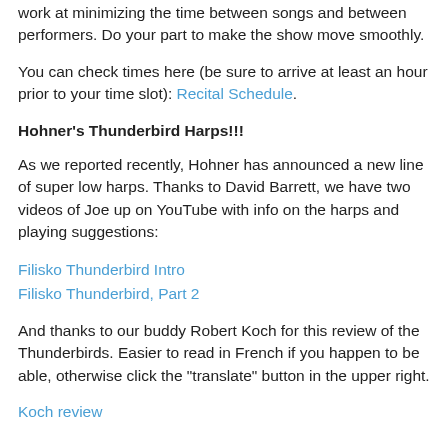work at minimizing the time between songs and between performers. Do your part to make the show move smoothly.
You can check times here (be sure to arrive at least an hour prior to your time slot): Recital Schedule.
Hohner's Thunderbird Harps!!!
As we reported recently, Hohner has announced a new line of super low harps. Thanks to David Barrett, we have two videos of Joe up on YouTube with info on the harps and playing suggestions:
Filisko Thunderbird Intro
Filisko Thunderbird, Part 2
And thanks to our buddy Robert Koch for this review of the Thunderbirds. Easier to read in French if you happen to be able, otherwise click the "translate" button in the upper right.
Koch review